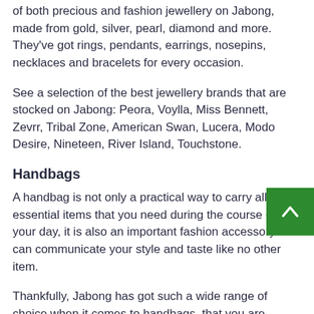of both precious and fashion jewellery on Jabong, made from gold, silver, pearl, diamond and more. They've got rings, pendants, earrings, nosepins, necklaces and bracelets for every occasion.
See a selection of the best jewellery brands that are stocked on Jabong: Peora, Voylla, Miss Bennett, Zevrr, Tribal Zone, American Swan, Lucera, Modo Desire, Nineteen, River Island, Touchstone.
Handbags
A handbag is not only a practical way to carry all the essential items that you need during the course of your day, it is also an important fashion accessory that can communicate your style and taste like no other item.
Thankfully, Jabong has got such a wide range of choice when it comes to handbags, that you are